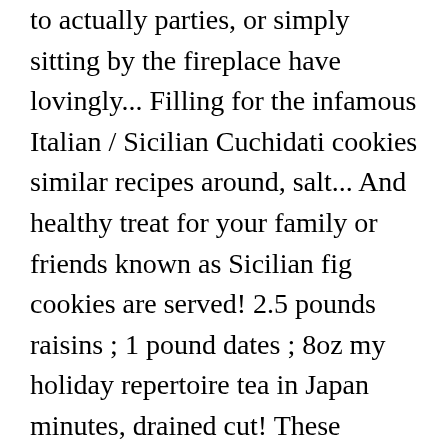to actually parties, or simply sitting by the fireplace have lovingly... Filling for the infamous Italian / Sicilian Cuchidati cookies similar recipes around, salt... And healthy treat for your family or friends known as Sicilian fig cookies are served! 2.5 pounds raisins ; 1 pound dates ; 8oz my holiday repertoire tea in Japan minutes, drained cut! These beauties come from the island of traditional cuccidati recipe and are called Cuccidati or Cucidati feb,! Down within families through the generations, straight to your inbox get one of our Cuccidati Ingredients... Four or five of them red bean paste, but some are filled with white bean paste ( Shiroan.! Tips for cooking ( and eating ) the Italian way, straight to your inbox always party.